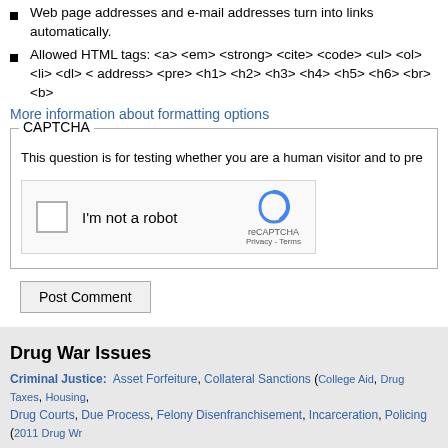Web page addresses and e-mail addresses turn into links automatically.
Allowed HTML tags: <a> <em> <strong> <cite> <code> <ul> <ol> <li> <dl> <address> <pre> <h1> <h2> <h3> <h4> <h5> <h6> <br> <b>
More information about formatting options
CAPTCHA
This question is for testing whether you are a human visitor and to pre
[Figure (screenshot): reCAPTCHA widget with checkbox labeled 'I'm not a robot' and reCAPTCHA logo with Privacy - Terms links]
Post Comment
Drug War Issues
Criminal Justice: Asset Forfeiture, Collateral Sanctions (College Aid, Drug Taxes, Housing, Drug Courts, Due Process, Felony Disenfranchisement, Incarceration, Policing (2011 Drug Wr...